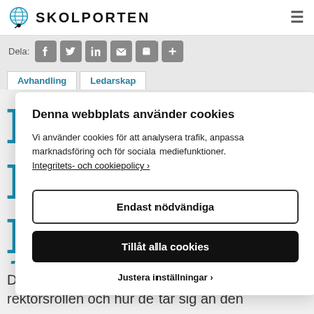SKOLPORTEN
[Figure (screenshot): Share bar with social media icons: Facebook, Twitter, LinkedIn, Email, Print, Plus]
Avhandling
Ledarskap
Denna webbplats använder cookies
Vi använder cookies för att analysera trafik, anpassa marknadsföring och för sociala mediefunktioner.
Integritets- och cookiepolicy ›.
Endast nödvändiga
Tillåt alla cookies
Justera inställningar ›
Deltar i rektorsprogrammet förstår rektorsrollen och hur de tar sig an den